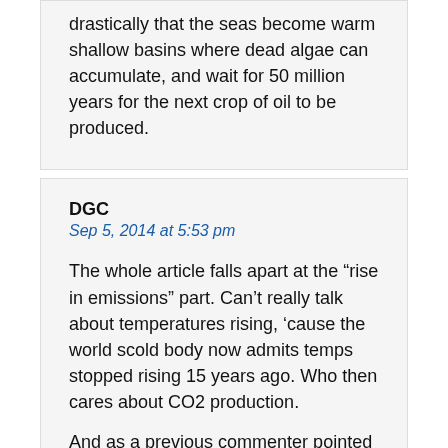drastically that the seas become warm shallow basins where dead algae can accumulate, and wait for 50 million years for the next crop of oil to be produced.
DGC
Sep 5, 2014 at 5:53 pm
The whole article falls apart at the “rise in emissions” part. Can’t really talk about temperatures rising, ‘cause the world scold body now admits temps stopped rising 15 years ago. Who then cares about CO2 production.
And as a previous commenter pointed out, Wolf misses the most important part, the huge decline rates of production (80%) in the first two or three